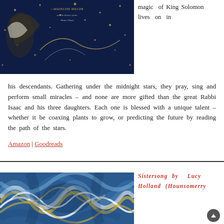[Figure (photo): Book cover of 'The Sisters of the Winter Wood' on a dark blue background with gold stars and floral/bird motifs, with a quote from Madeline Miller]
magic of King Solomon lives on in his descendants. Gathering under the midnight stars, they pray, sing and perform small miracles – and none are more gifted than the great Rabbi Isaac and his three daughters. Each one is blessed with a unique talent – whether it be coaxing plants to grow, or predicting the future by reading the path of the stars.
Amazon | Goodreads
[Figure (photo): Abstract swirling waves artwork in blue, white, and yellow/gold tones representing flowing movement]
Sistersong by Lucy Holland (Hounsomerry)